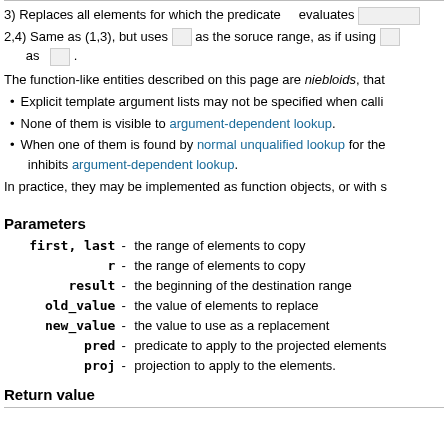3) Replaces all elements for which the predicate evaluates [box]
2,4) Same as (1,3), but uses [box] as the soruce range, as if using [box] as [box].
The function-like entities described on this page are niebloids, that
Explicit template argument lists may not be specified when calli
None of them is visible to argument-dependent lookup.
When one of them is found by normal unqualified lookup for the inhibits argument-dependent lookup.
In practice, they may be implemented as function objects, or with s
Parameters
| Parameter | - | Description |
| --- | --- | --- |
| first, last | - | the range of elements to copy |
| r | - | the range of elements to copy |
| result | - | the beginning of the destination range |
| old_value | - | the value of elements to replace |
| new_value | - | the value to use as a replacement |
| pred | - | predicate to apply to the projected elements |
| proj | - | projection to apply to the elements. |
Return value